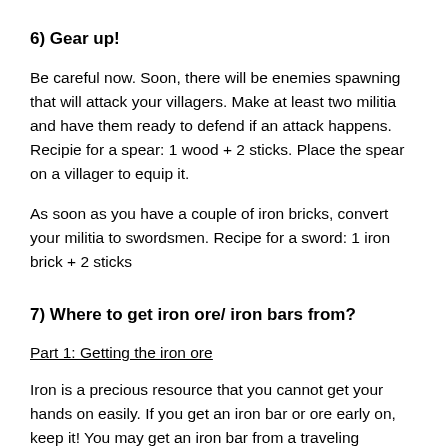6) Gear up!
Be careful now. Soon, there will be enemies spawning that will attack your villagers. Make at least two militia and have them ready to defend if an attack happens. Recipie for a spear: 1 wood + 2 sticks. Place the spear on a villager to equip it.
As soon as you have a couple of iron bricks, convert your militia to swordsmen. Recipe for a sword: 1 iron brick + 2 sticks
7) Where to get iron ore/ iron bars from?
Part 1: Getting the iron ore
Iron is a precious resource that you cannot get your hands on easily. If you get an iron bar or ore early on, keep it! You may get an iron bar from a traveling merchant, for example.
If you didn't get lucky, there are still multiple ways to get an